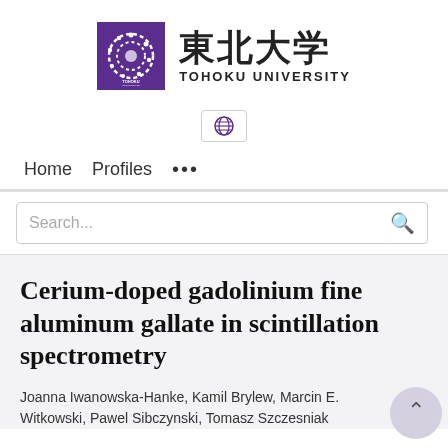[Figure (logo): Tohoku University logo with purple square containing a white circular design, followed by Japanese kanji characters 東北大学 and text TOHOKU UNIVERSITY]
[Figure (other): Globe/language selector icon in a bordered button]
Home    Profiles    ...
Search...
Cerium-doped gadolinium fine aluminum gallate in scintillation spectrometry
Joanna Iwanowska-Hanke, Kamil Brylew, Marcin E. Witkowski, Pawel Sibczynski, Tomasz Szczesniak